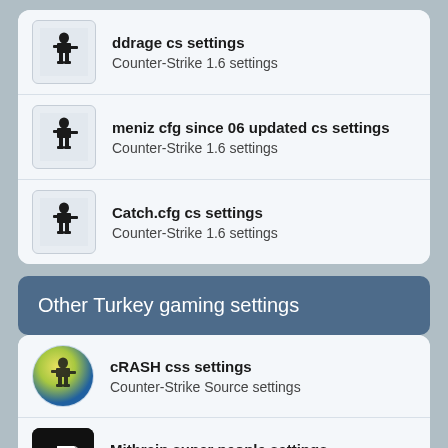ddrage cs settings
Counter-Strike 1.6 settings
meniz cfg since 06 updated cs settings
Counter-Strike 1.6 settings
Catch.cfg cs settings
Counter-Strike 1.6 settings
Other Turkey gaming settings
cRASH css settings
Counter-Strike Source settings
Mithrain super people settings
Super People settings
BERAXRM CFG csgo settings